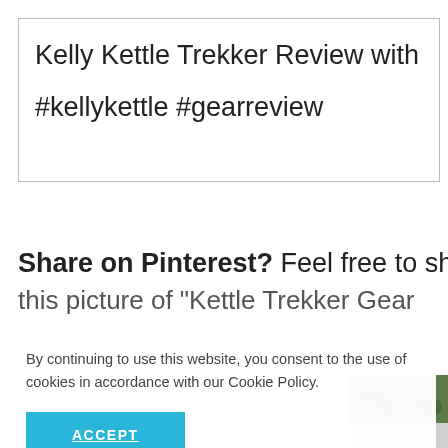Kelly Kettle Trekker Review with video. via @
#kellykettle #gearreview
Share on Pinterest? Feel free to share this picture of "Kettle Trekker Gear ... or
By continuing to use this website, you consent to the use of cookies in accordance with our Cookie Policy.
ACCEPT